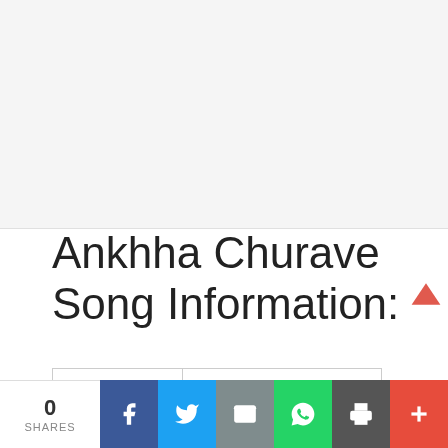Ankhha Churave Song Information:
|  |  |
| --- | --- |
| Singer | Amitabh Narayan, Sanjivani |
| Lyricist | Sanjay Chhel |
0 SHARES | Facebook | Twitter | Email | WhatsApp | Print | +